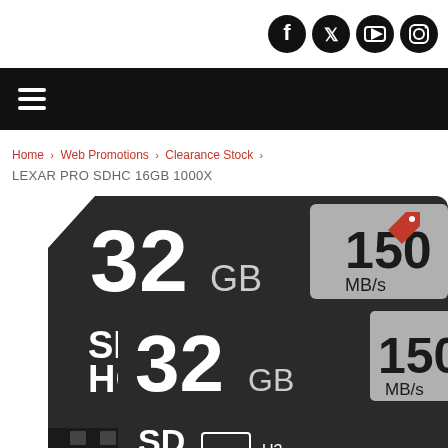Social media icons: Facebook, Twitter, YouTube, Instagram
[Figure (screenshot): Black navigation bar with hamburger menu icon (three white horizontal lines)]
Home > Web Promotions > Clearance Stock >
LEXAR PRO SDHC 16GB 1000X
[Figure (photo): Two Lexar Professional SDHC 32GB 150MB/s UHS-II Class 10 memory cards overlapping, showing front face with Lexar branding, PROFESSIONAL label, SD HC UHS-II logos, 32GB and 150 MB/s markings. Background is white with a red price tag icon in upper right.]